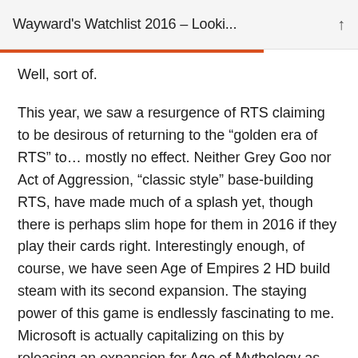Wayward's Watchlist 2016 – Looki...
Well, sort of.
This year, we saw a resurgence of RTS claiming to be desirous of returning to the “golden era of RTS” to… mostly no effect. Neither Grey Goo nor Act of Aggression, “classic style” base-building RTS, have made much of a splash yet, though there is perhaps slim hope for them in 2016 if they play their cards right. Interestingly enough, of course, we have seen Age of Empires 2 HD build steam with its second expansion. The staying power of this game is endlessly fascinating to me. Microsoft is actually capitalizing on this by releasing an expansion for Age of Mythology as